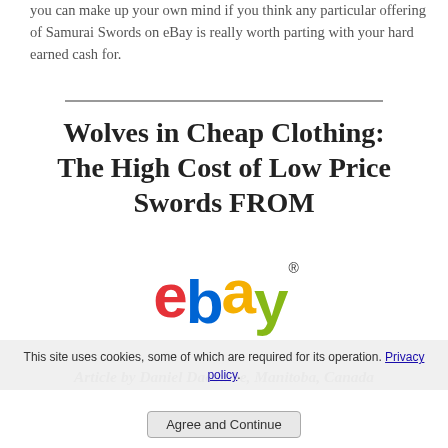you can make up your own mind if you think any particular offering of Samurai Swords on eBay is really worth parting with your hard earned cash for.
Wolves in Cheap Clothing: The High Cost of Low Price Swords FROM
[Figure (logo): eBay logo with colorful letters: red 'e', blue 'b', yellow 'a', green 'y' with registered trademark symbol]
Article by Daniel Dacombe, Manitoba, Canada
This site uses cookies, some of which are required for its operation. Privacy policy.
Agree and Continue